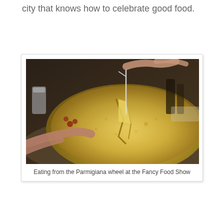city that knows how to celebrate good food.
[Figure (photo): Close-up photo of hands using a tool to scoop or break apart a large Parmigiana (Parmigiano-Reggiano) cheese wheel. The interior of the wheel is golden-yellow and crumbly. A glass and other items are visible in the background.]
Eating from the Parmigiana wheel at the Fancy Food Show